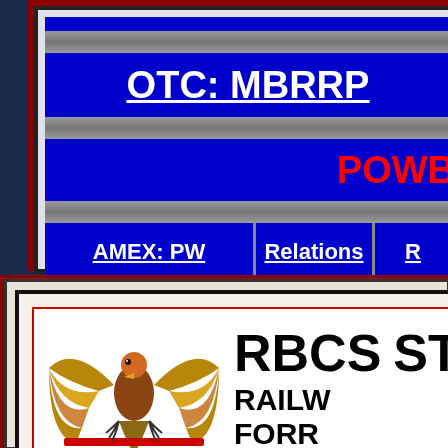OTC: MBRRP
POWB
AMEX: PW | Relations | R
[Figure (logo): RBCS logo with eagle and text RBCS ST RAILWAY FORR]
RBCS
RAILWAY
FORR